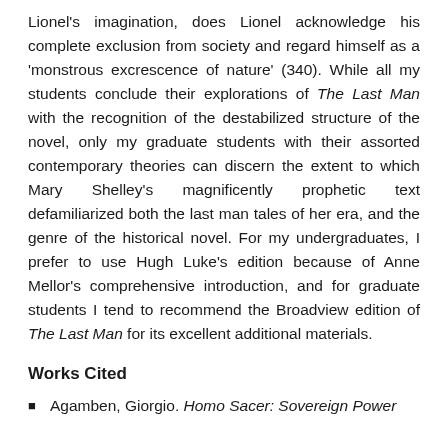Lionel's imagination, does Lionel acknowledge his complete exclusion from society and regard himself as a 'monstrous excrescence of nature' (340). While all my students conclude their explorations of The Last Man with the recognition of the destabilized structure of the novel, only my graduate students with their assorted contemporary theories can discern the extent to which Mary Shelley's magnificently prophetic text defamiliarized both the last man tales of her era, and the genre of the historical novel. For my undergraduates, I prefer to use Hugh Luke's edition because of Anne Mellor's comprehensive introduction, and for graduate students I tend to recommend the Broadview edition of The Last Man for its excellent additional materials.
Works Cited
Agamben, Giorgio. Homo Sacer: Sovereign Power